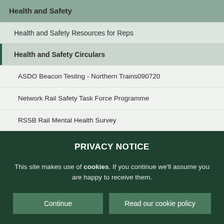Health and Safety
Health and Safety Resources for Reps
Health and Safety Circulars
ASDO Beacon Testing - Northern Trains090720
Network Rail Safety Task Force Programme
RSSB Rail Mental Health Survey
PRIVACY NOTICE
This site makes use of cookies. If you continue we'll assume you are happy to receive them.
Continue   Read our cookie policy